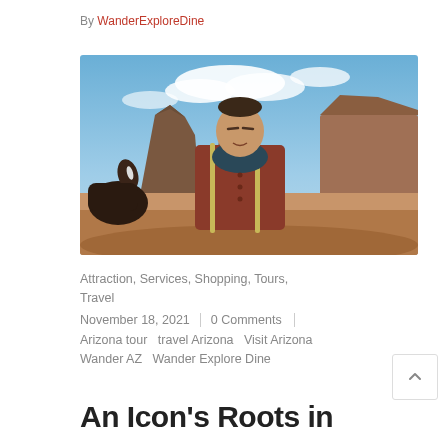By WanderExploreDine
[Figure (photo): A man in a red shirt with a dark blue scarf/neckerchief and suspenders stands in front of Monument Valley rock formations with a horse to his left, under a partly cloudy blue sky.]
Attraction, Services, Shopping, Tours, Travel
November 18, 2021  |  0 Comments
Arizona tour  travel Arizona  Visit Arizona  Wander AZ  Wander Explore Dine
An Icon's Roots in